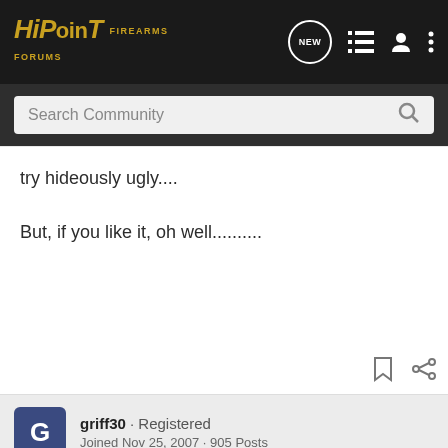HiPoint Firearms Forums
Search Community
try hideously ugly....
But, if you like it, oh well..........
griff30 · Registered
Joined Nov 25, 2007 · 905 Posts
#12 · Jan
I'd love a
[Figure (screenshot): Advertisement banner for FN 509 Midsize Tactical with gold firearm image]